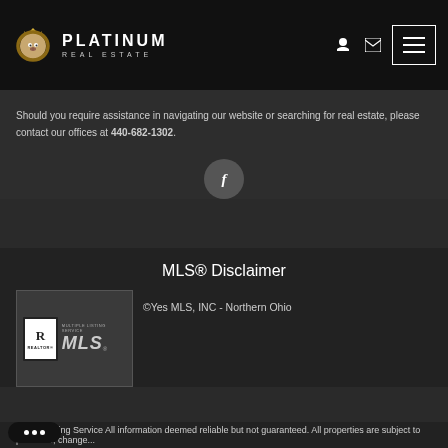Platinum Real Estate
Should you require assistance in navigating our website or searching for real estate, please contact our offices at 440-682-1302.
[Figure (logo): Facebook circle icon button]
MLS® Disclaimer
[Figure (logo): REALTOR MLS logo - Multiple Listing Service]
©Yes MLS, INC - Northern Ohio
...ltiple Listing Service All information deemed reliable but not guaranteed. All properties are subject to prior sale, change...